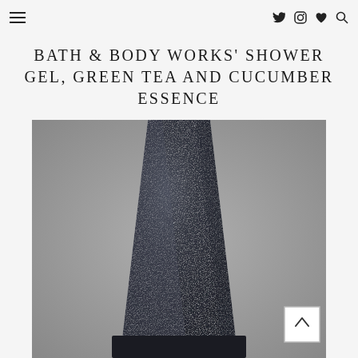Navigation bar with hamburger menu and icons: Twitter, Instagram, Heart, Search
BATH & BODY WORKS' SHOWER GEL, GREEN TEA AND CUCUMBER ESSENCE
[Figure (photo): Close-up photo of a dark/black textured cone-shaped bottle of Bath & Body Works shower gel against a gray background, showing only the upper body and base of the bottle.]